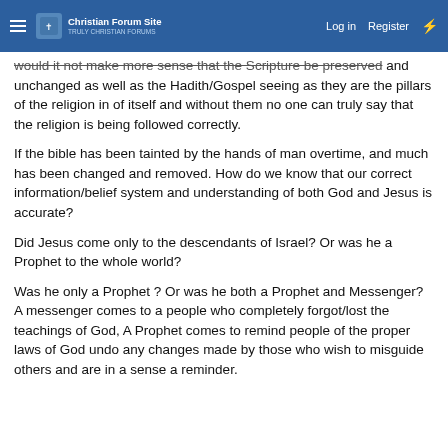Christian Forum Site | Log in | Register
would it not make more sense that the Scripture be preserved and unchanged as well as the Hadith/Gospel seeing as they are the pillars of the religion in of itself and without them no one can truly say that the religion is being followed correctly.
If the bible has been tainted by the hands of man overtime, and much has been changed and removed. How do we know that our correct information/belief system and understanding of both God and Jesus is accurate?
Did Jesus come only to the descendants of Israel? Or was he a Prophet to the whole world?
Was he only a Prophet ? Or was he both a Prophet and Messenger? A messenger comes to a people who completely forgot/lost the teachings of God, A Prophet comes to remind people of the proper laws of God undo any changes made by those who wish to misguide others and are in a sense a reminder.